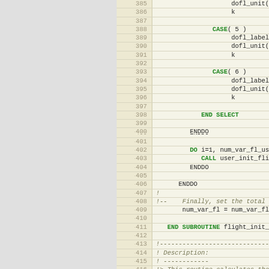[Figure (screenshot): Source code listing in Fortran-like language, lines 385-417, showing CASE statements, END SELECT, ENDDO loops, DO loop, CALL statement, END SUBROUTINE, and comment block describing a routine.]